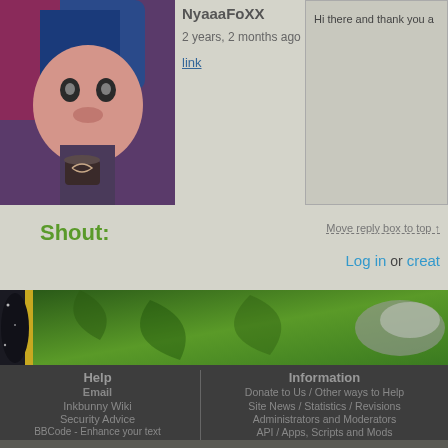[Figure (illustration): Avatar image of an anime-style character with blue and pink hair]
NyaaaFoXX
2 years, 2 months ago
link
Hi there and thank you a
Shout:
Move reply box to top ↑
Log in or creat
[Figure (illustration): Website banner image with green and metallic visual elements]
Help
Email
Inkbunny Wiki
Security Advice
BBCode - Enhance your text
Information
Donate to Us / Other ways to Help
Site News / Statistics / Revisions
Administrators and Moderators
API / Apps, Scripts and Mods
All artwork and other con
Powered by Harm
Content Server: Virginia Cache - provided by
The Inkbunny web application, artwork, name a